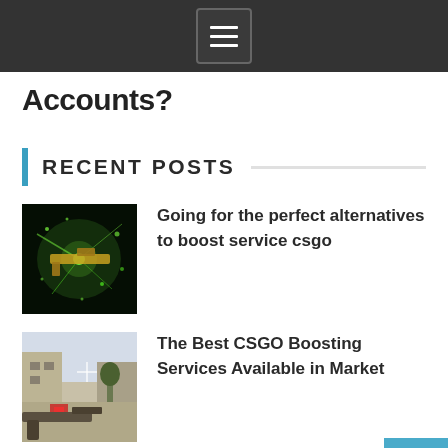menu icon / navigation bar
Accounts?
RECENT POSTS
[Figure (photo): CSGO game screenshot showing a glowing green gun with particle effects on dark background]
Going for the perfect alternatives to boost service csgo
[Figure (photo): CSGO game screenshot showing a first-person view of a player with a sniper rifle in a map]
The Best CSGO Boosting Services Available in Market
Get the benefits of rank boost csgo Accounts?